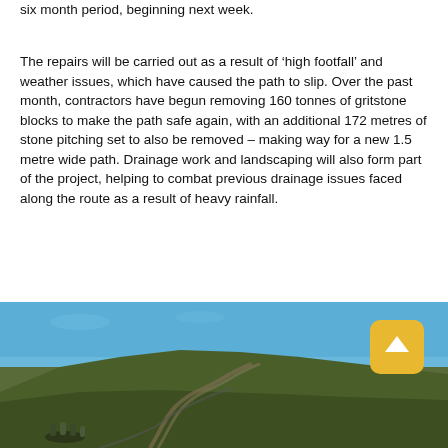six month period, beginning next week.
The repairs will be carried out as a result of ‘high footfall’ and weather issues, which have caused the path to slip. Over the past month, contractors have begun removing 160 tonnes of gritstone blocks to make the path safe again, with an additional 172 metres of stone pitching set to also be removed – making way for a new 1.5 metre wide path. Drainage work and landscaping will also form part of the project, helping to combat previous drainage issues faced along the route as a result of heavy rainfall.
[Figure (photo): A hillside landscape showing a steep grassy slope under a blue sky, with a path or trail visible going up the hill and a group of people visible near the bottom left of the image.]